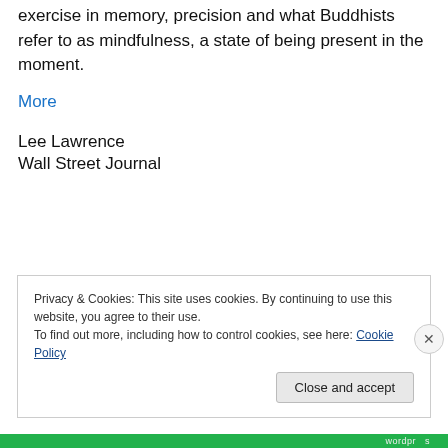exercise in memory, precision and what Buddhists refer to as mindfulness, a state of being present in the moment.
More
Lee Lawrence
Wall Street Journal
Privacy & Cookies: This site uses cookies. By continuing to use this website, you agree to their use.
To find out more, including how to control cookies, see here: Cookie Policy